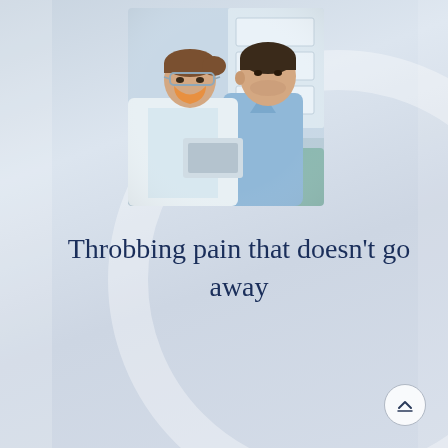[Figure (photo): A female dental professional wearing safety glasses and an orange mask talking with a male patient in a light blue shirt seated in a dental chair, in a dental office setting]
Throbbing pain that doesn't go away